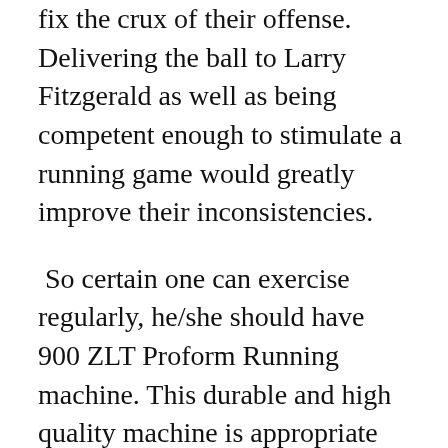fix the crux of their offense. Delivering the ball to Larry Fitzgerald as well as being competent enough to stimulate a running game would greatly improve their inconsistencies.
So certain one can exercise regularly, he/she should have 900 ZLT Proform Running machine. This durable and high quality machine is appropriate everybody. Having one of these at home can be a great motivator. With a Proform 900 ZLT at home, one does not have to be to a fitness center. This Proform 900 ZLT is very user-friendly. This treadmill one other usable by people of all ages. With its world-class